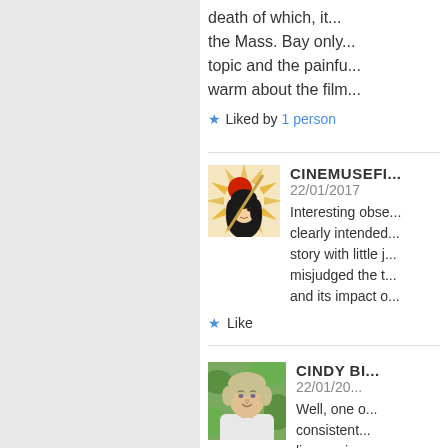...death of which, it... the Mass. Bay only... topic and the painfu... warm about the film...
Liked by 1 person
[Figure (illustration): Avatar for CINEMUSEFI: stylized illustration of a woman with black hair and red circular shape, sun-ray pattern background in orange and yellow tones]
CINEMUSEFI
22/01/2017
Interesting obse... clearly intended... story with little j... misjudged the t... and its impact o...
Like
[Figure (photo): Avatar photo of Cindy, a middle-aged woman with short blonde/grey hair, smiling, outdoors with green foliage background]
CINDY BI
22/01/20...
Well, one o... consistent... line or sign... (the storm... slopping...